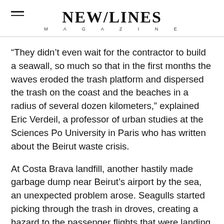NEW/LINES MAGAZINE
“They didn’t even wait for the contractor to build a seawall, so much so that in the first months the waves eroded the trash platform and dispersed the trash on the coast and the beaches in a radius of several dozen kilometers,” explained Eric Verdeil, a professor of urban studies at the Sciences Po University in Paris who has written about the Beirut waste crisis.
At Costa Brava landfill, another hastily made garbage dump near Beirut’s airport by the sea, an unexpected problem arose. Seagulls started picking through the trash in droves, creating a hazard to the passenger flights that were landing and taking off from runways